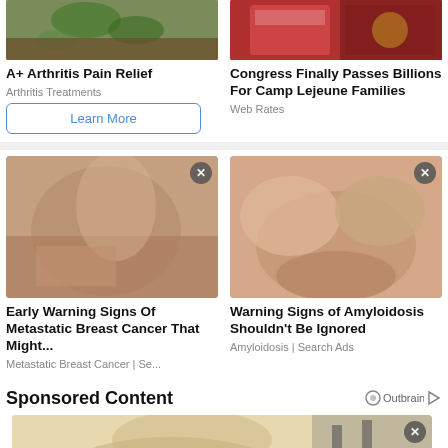[Figure (photo): Top left ad image - herbs/plant background]
A+ Arthritis Pain Relief
Arthritis Treatments
Learn More
[Figure (photo): Top right ad image - red package/brick wall]
Congress Finally Passes Billions For Camp Lejeune Families
Web Rates
[Figure (photo): Woman in gray tank top holding chest area - breast cancer awareness ad]
Early Warning Signs Of Metastatic Breast Cancer That Might...
Metastatic Breast Cancer | Se...
[Figure (photo): Hands massaging foot/ankle - amyloidosis ad]
Warning Signs of Amyloidosis Shouldn't Be Ignored
Amyloidosis | Search Ads
Sponsored Content
Outbrain
[Figure (photo): Blonde woman partial view - sponsored content image]